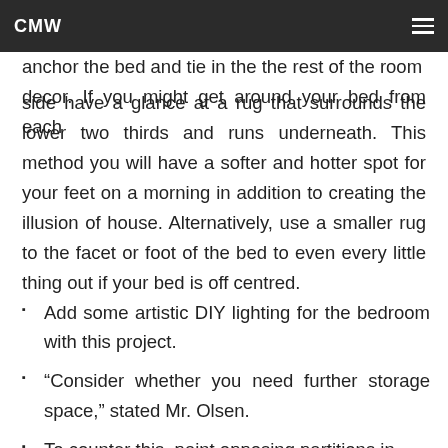CMW
and drink a cup of tea. You can use a rug to anchor the bed and tie in the the rest of the room decor. If you might get around your bed from each side have a glance at a rug that surrounds the lower two thirds and runs underneath. This method you will have a softer and hotter spot for your feet on a morning in addition to creating the illusion of house. Alternatively, use a smaller rug to the facet or foot of the bed to even every little thing out if your bed is off centred.
Add some artistic DIY lighting for the bedroom with this project.
“Consider whether you need further storage space,” stated Mr. Olsen.
To counter this, paint opposing partitions in